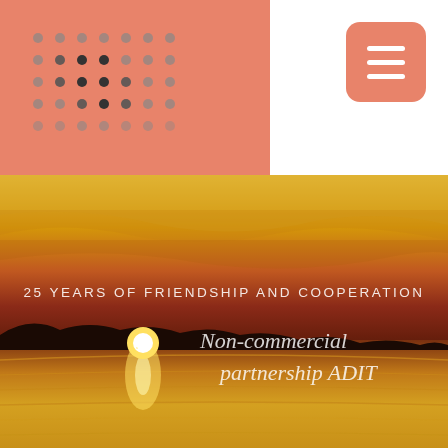[Figure (logo): Dot grid logo on salmon/coral background header block, with menu hamburger button on right]
[Figure (photo): Sunset landscape photo showing golden-red sky with sun setting over water and dark treeline silhouette]
25 YEARS OF FRIENDSHIP AND COOPERATION
Non-commercial partnership ADIT